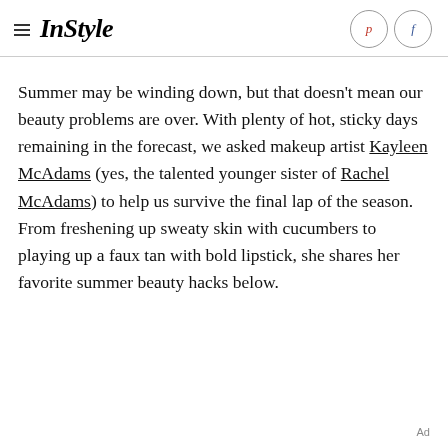InStyle
Summer may be winding down, but that doesn't mean our beauty problems are over. With plenty of hot, sticky days remaining in the forecast, we asked makeup artist Kayleen McAdams (yes, the talented younger sister of Rachel McAdams) to help us survive the final lap of the season. From freshening up sweaty skin with cucumbers to playing up a faux tan with bold lipstick, she shares her favorite summer beauty hacks below.
Ad